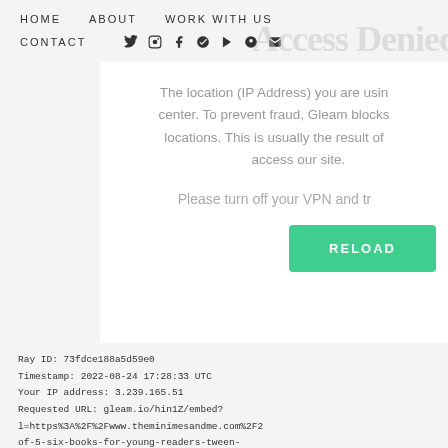HOME   ABOUT   WORK WITH US
CONTACT   [social icons]
Access Denied
The location (IP Address) you are using appears to be a data center. To prevent fraud, Gleam blocks certain data center locations. This is usually the result of using a VPN to access our site.
Please turn off your VPN and try again.
RELOAD
Ray ID: 73fdce188a5d59e0
Timestamp: 2022-08-24 17:28:33 UTC
Your IP address: 3.239.165.51
Requested URL: gleam.io/hin1Z/embed?l=https%3A%2F%2Fwww.theminimesandme.com%2F2of-5-six-books-for-young-readers-tween-stories.html%3FshowComment%3D14600727391209